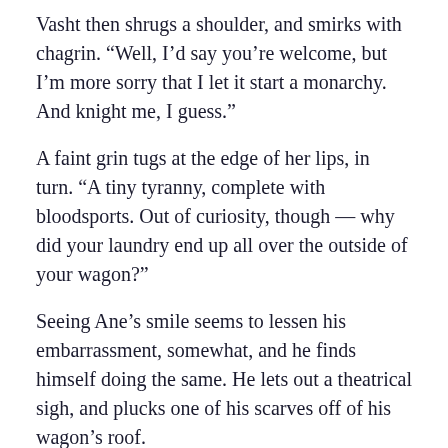Vasht then shrugs a shoulder, and smirks with chagrin. “Well, I’d say you’re welcome, but I’m more sorry that I let it start a monarchy. And knight me, I guess.”
A faint grin tugs at the edge of her lips, in turn. “A tiny tyranny, complete with bloodsports. Out of curiosity, though — why did your laundry end up all over the outside of your wagon?”
Seeing Ane’s smile seems to lessen his embarrassment, somewhat, and he finds himself doing the same. He lets out a theatrical sigh, and plucks one of his scarves off of his wagon’s roof.
“If I had to guess? The critter needed heraldry, and somehow Jiselmo knew that. So while we got ready, he went around throwing my clothes everywhere.”